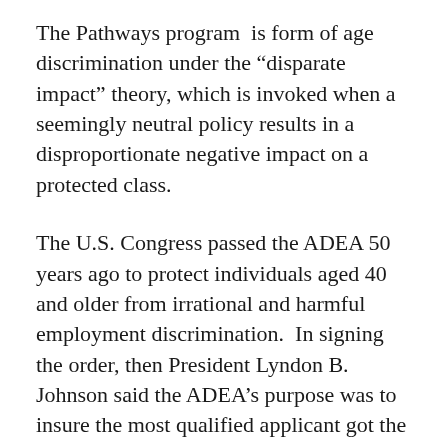The Pathways program is form of age discrimination under the “disparate impact” theory, which is invoked when a seemingly neutral policy results in a disproportionate negative impact on a protected class.
The U.S. Congress passed the ADEA 50 years ago to protect individuals aged 40 and older from irrational and harmful employment discrimination. In signing the order, then President Lyndon B. Johnson said the ADEA’s purpose was to insure the most qualified applicant got the job.
Obama signed the order in